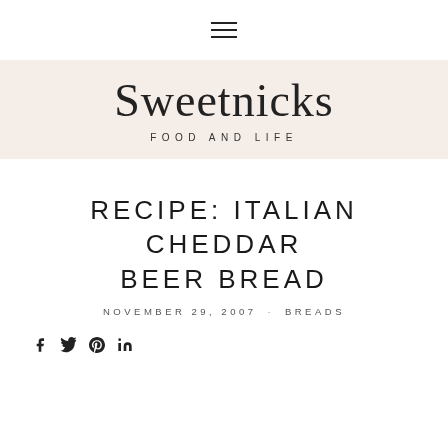≡ (hamburger menu)
Sweetnicks
FOOD AND LIFE
RECIPE: ITALIAN CHEDDAR BEER BREAD
NOVEMBER 29, 2007 · BREADS
[Figure (other): Social sharing icons: Facebook, Twitter, Pinterest, LinkedIn]